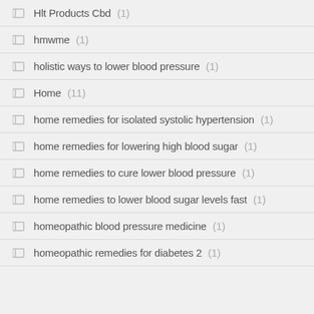Hlt Products Cbd (1)
hmwme (1)
holistic ways to lower blood pressure (1)
Home (11)
home remedies for isolated systolic hypertension (1)
home remedies for lowering high blood sugar (1)
home remedies to cure lower blood pressure (1)
home remedies to lower blood sugar levels fast (1)
homeopathic blood pressure medicine (1)
homeopathic remedies for diabetes 2 (1)